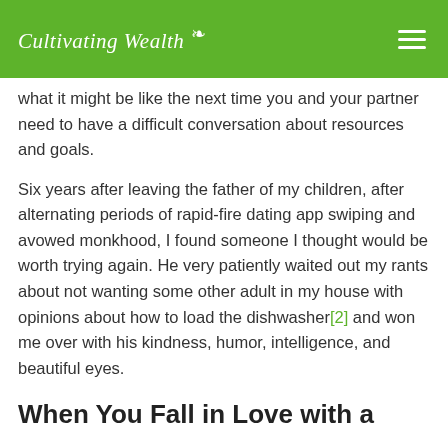Cultivating Wealth
what it might be like the next time you and your partner need to have a difficult conversation about resources and goals.
Six years after leaving the father of my children, after alternating periods of rapid-fire dating app swiping and avowed monkhood, I found someone I thought would be worth trying again. He very patiently waited out my rants about not wanting some other adult in my house with opinions about how to load the dishwasher[2] and won me over with his kindness, humor, intelligence, and beautiful eyes.
When You Fall in Love with a